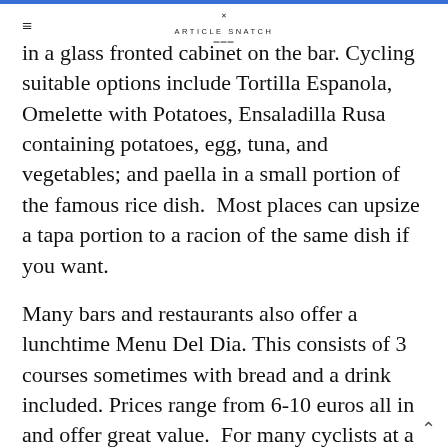≡  ARTICLE SNATCH
in a glass fronted cabinet on the bar. Cycling suitable options include Tortilla Espanola, Omelette with Potatoes, Ensaladilla Rusa containing potatoes, egg, tuna, and vegetables; and paella in a small portion of the famous rice dish.  Most places can upsize a tapa portion to a racion of the same dish if you want.
Many bars and restaurants also offer a lunchtime Menu Del Dia. This consists of 3 courses sometimes with bread and a drink included. Prices range from 6-10 euros all in and offer great value.  For many cyclists at a mid-point of their route this may be a lot of food to digest. However, portions are reasonable without being excessive. Personally, I have managed to appreciate a ‘menu’ and continue riding after on more